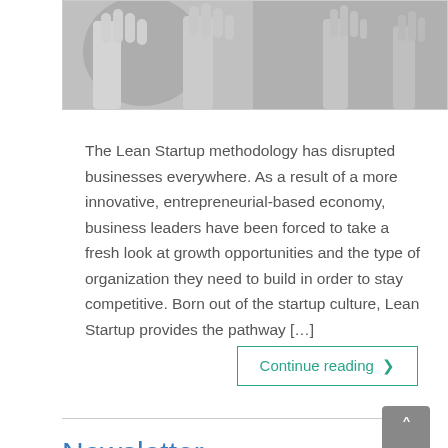[Figure (photo): Black and white photograph of multiple raised hands against a light background]
The Lean Startup methodology has disrupted businesses everywhere. As a result of a more innovative, entrepreneurial-based economy, business leaders have been forced to take a fresh look at growth opportunities and the type of organization they need to build in order to stay competitive. Born out of the startup culture, Lean Startup provides the pathway [...]
Continue reading ❯
Newsletter